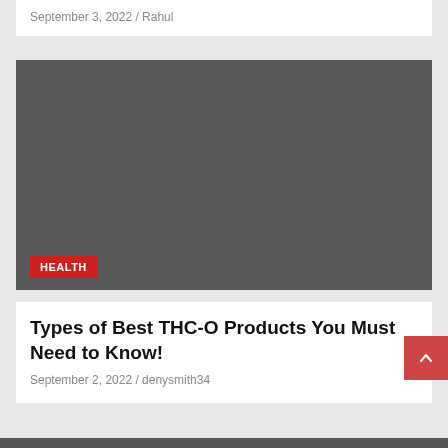September 3, 2022 / Rahul
[Figure (photo): Dark gray placeholder image with a red HEALTH badge in the bottom left corner]
Types of Best THC-O Products You Must Need to Know!
September 2, 2022 / denysmith34